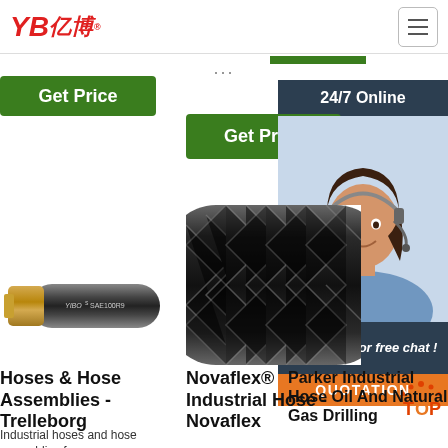[Figure (logo): YB亿博 company logo in red, with registered trademark symbol]
...
Get Price
24/7 Online
Get Price
[Figure (photo): Customer service woman wearing headset, smiling, 24/7 online support]
Click here for free chat !
QUOTATION
[Figure (photo): Black rubber hydraulic hose labeled YIBO SAE100R9]
[Figure (photo): Close-up of black braided industrial hose]
Hoses & Hose Assemblies - Trelleborg
Novaflex® Industrial Hose - Novaflex
Parker Industrial Hose Oil And Natural Gas Drilling
Industrial hoses and hose assemblies for